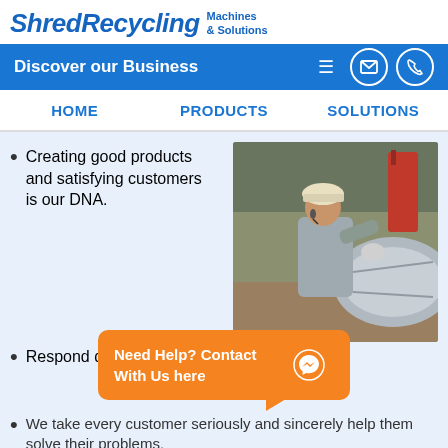ShredRecycling Machines & Solutions
Discover our Business
HOME   PRODUCTS   SOLUTIONS
Creating good products and satisfying customers is our DNA.
[Figure (photo): A worker in a hard hat and grey uniform inspecting industrial shredding machinery in a factory]
Respond quickly to user needs at any time.
We take every customer seriously and sincerely help them solve their problems.
Profound technical foundation and R&D capabilities.
Continuously stable and efficient equipment processing capabilities
Need Help? Contact With Us here